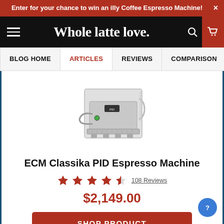Enter for your chance to win an illy Coffee Espresso Machine! ×
[Figure (logo): Whole Latte Love website header with hamburger menu, logo, search and cart icons]
BLOG HOME | ARTICLES | REVIEWS | COMPARISON
[Figure (photo): ECM Classika PID Espresso Machine stainless steel product photo, front view]
ECM Classika PID Espresso Machine
★★★★★½ 108 Reviews
$2,149.00
SHOP PRODUCT